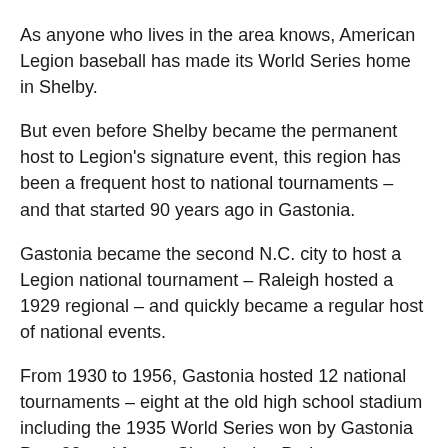As anyone who lives in the area knows, American Legion baseball has made its World Series home in Shelby.
But even before Shelby became the permanent host to Legion's signature event, this region has been a frequent host to national tournaments – and that started 90 years ago in Gastonia.
Gastonia became the second N.C. city to host a Legion national tournament – Raleigh hosted a 1929 regional – and quickly became a regular host of national events.
From 1930 to 1956, Gastonia hosted 12 national tournaments – eight at the old high school stadium including the 1935 World Series won by Gastonia Post 23 and four at Sims Legion Park.
Other area hosts were Belmont, Cherryville and Shelby.